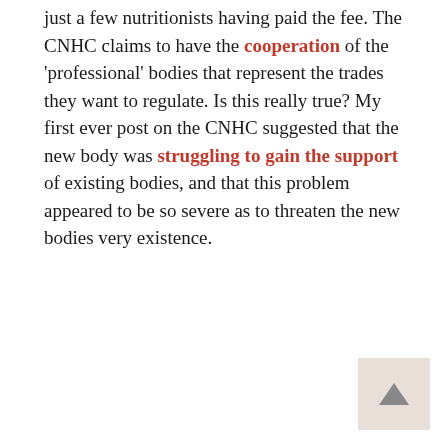just a few nutritionists having paid the fee. The CNHC claims to have the cooperation of the 'professional' bodies that represent the trades they want to regulate. Is this really true? My first ever post on the CNHC suggested that the new body was struggling to gain the support of existing bodies, and that this problem appeared to be so severe as to threaten the new bodies very existence.